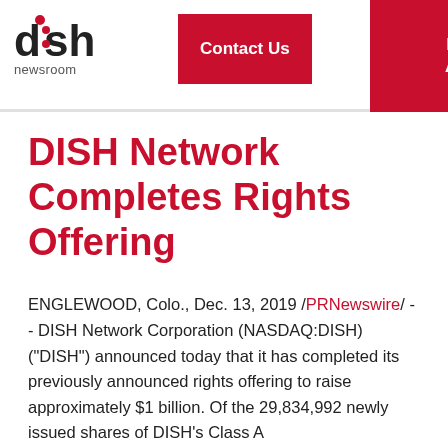DISH newsroom | Contact Us | Email Alerts
DISH Network Completes Rights Offering
ENGLEWOOD, Colo., Dec. 13, 2019 /PRNewswire/ -- DISH Network Corporation (NASDAQ:DISH) ("DISH") announced today that it has completed its previously announced rights offering to raise approximately $1 billion. Of the 29,834,992 newly issued shares of DISH's Class A